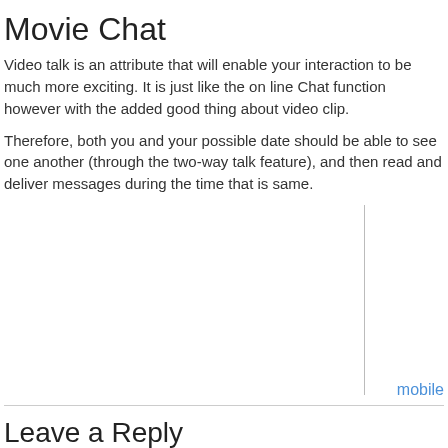Movie Chat
Video talk is an attribute that will enable your interaction to be much more exciting. It is just like the on line Chat function however with the added good thing about video clip.
Therefore, both you and your possible date should be able to see one another (through the two-way talk feature), and then read and deliver messages during the time that is same.
[Figure (other): A bordered image area placeholder with a 'mobile' link in the bottom right corner]
Leave a Reply
You must be logged in to post a comment.